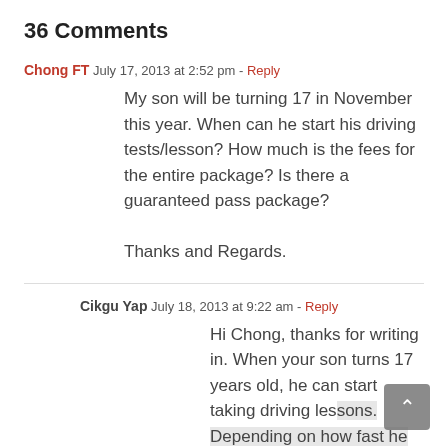36 Comments
Chong FT  July 17, 2013 at 2:52 pm - Reply
My son will be turning 17 in November this year. When can he start his driving tests/lesson? How much is the fees for the entire package? Is there a guaranteed pass package?

Thanks and Regards.
Cikgu Yap  July 18, 2013 at 9:22 am - Reply
Hi Chong, thanks for writing in. When your son turns 17 years old, he can start taking driving lessons. Depending on how fast he learns, he can start taking his JPJ driving test within 2 – 7 months time. In